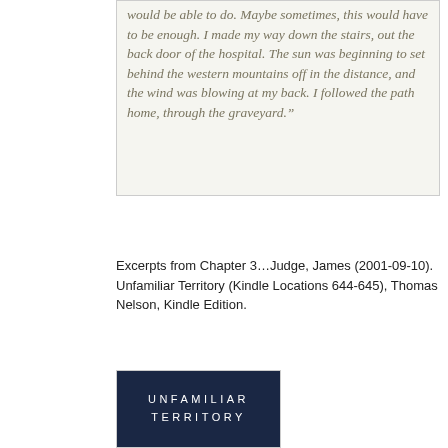would be able to do. Maybe sometimes, this would have to be enough. I made my way down the stairs, out the back door of the hospital. The sun was beginning to set behind the western mountains off in the distance, and the wind was blowing at my back. I followed the path home, through the graveyard.”
Excerpts from Chapter 3…Judge, James (2001-09-10). Unfamiliar Territory (Kindle Locations 644-645), Thomas Nelson, Kindle Edition.
[Figure (other): Book cover image with dark navy background and the text UNFAMILIAR TERRITORY in white spaced capital letters]